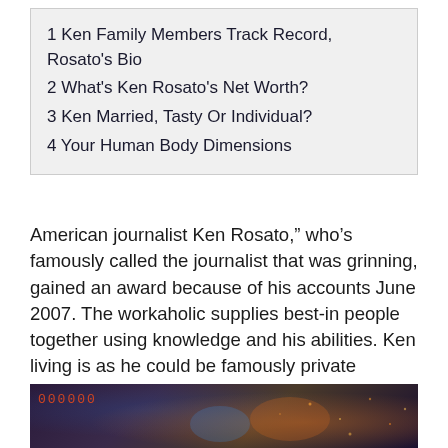1 Ken Family Members Track Record, Rosato’s Bio
2 What’s Ken Rosato’s Net Worth?
3 Ken Married, Tasty Or Individual?
4 Your Human Body Dimensions
American journalist Ken Rosato,” who’s famously called the journalist that was grinning, gained an award because of his accounts June 2007. The workaholic supplies best-in people together using knowledge and his abilities. Ken living is as he could be famously private regarding his particulars, Whilst his achievements are clear.
[Figure (screenshot): A dark video game screenshot showing a score display reading '000000' in red monospace digits at the top left, with a dark fantasy/action game scene featuring orange and blue lighting effects, particles, and creature silhouettes.]